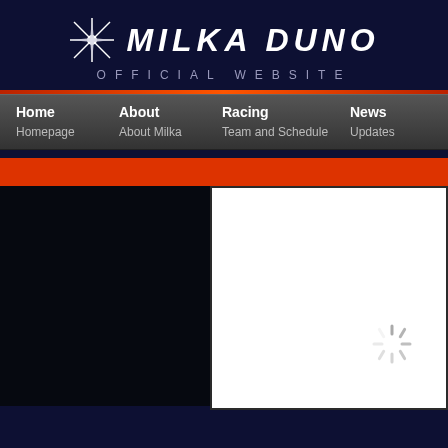MILKA DUNO OFFICIAL WEBSITE
[Figure (screenshot): Navigation menu with Home, About, Racing, News, Gallery items and sub-items Homepage, About Milka, Team and Schedule, Updates, Photos/Videos]
[Figure (other): White content area with loading spinner icon in bottom right, dark navy sidebar on the left, orange accent bar at top of content section]